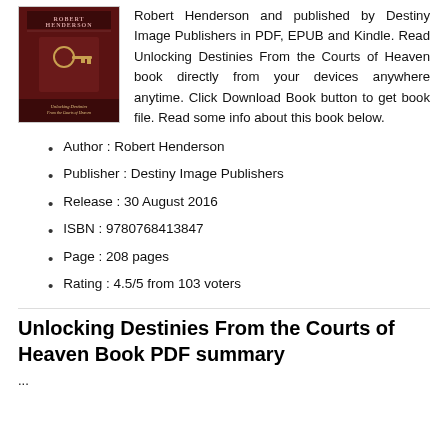[Figure (photo): Book cover of 'Unlocking Destinies From the Courts of Heaven' by Robert Henderson, dark reddish-brown cover with a key image]
Robert Henderson and published by Destiny Image Publishers in PDF, EPUB and Kindle. Read Unlocking Destinies From the Courts of Heaven book directly from your devices anywhere anytime. Click Download Book button to get book file. Read some info about this book below.
Author : Robert Henderson
Publisher : Destiny Image Publishers
Release : 30 August 2016
ISBN : 9780768413847
Page : 208 pages
Rating : 4.5/5 from 103 voters
Unlocking Destinies From the Courts of Heaven Book PDF summary
...